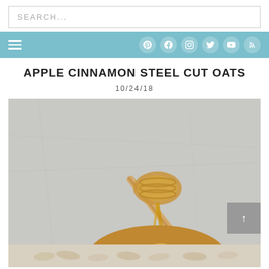SEARCH...
[Figure (screenshot): Navigation bar with hamburger menu icon and social media icons (Pinterest, Facebook, Instagram, Twitter, YouTube, RSS) on a teal background]
APPLE CINNAMON STEEL CUT OATS
10/24/18
[Figure (photo): Close-up photo of a ball of apple cinnamon steel cut oats with a honey dipper drizzling honey on top, on a light grey surface]